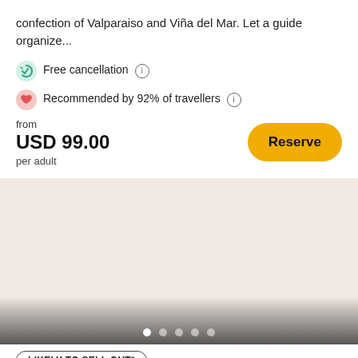confection of Valparaiso and Viña del Mar. Let a guide organize...
Free cancellation
Recommended by 92% of travellers
from
USD 99.00
per adult
[Figure (screenshot): Beige/pinkish placeholder image area with carousel navigation dots at the bottom]
LIKELY TO SELL OUT*